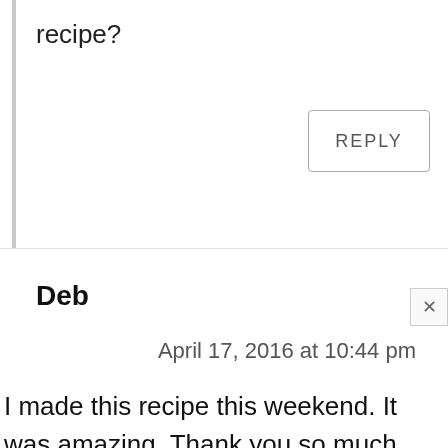recipe?
REPLY
Deb
April 17, 2016 at 10:44 pm
I made this recipe this weekend. It was amazing. Thank you so much for posting it. Seriously cannot wait to make it again. 🙂